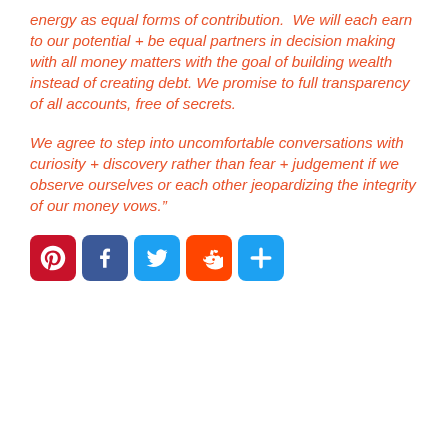energy as equal forms of contribution.  We will each earn to our potential + be equal partners in decision making with all money matters with the goal of building wealth instead of creating debt. We promise to full transparency of all accounts, free of secrets.
We agree to step into uncomfortable conversations with curiosity + discovery rather than fear + judgement if we observe ourselves or each other jeopardizing the integrity of our money vows.”
[Figure (other): Row of five social sharing icon buttons: Pinterest (red), Facebook (blue), Twitter (light blue), Reddit (orange), and a generic share button (light blue)]